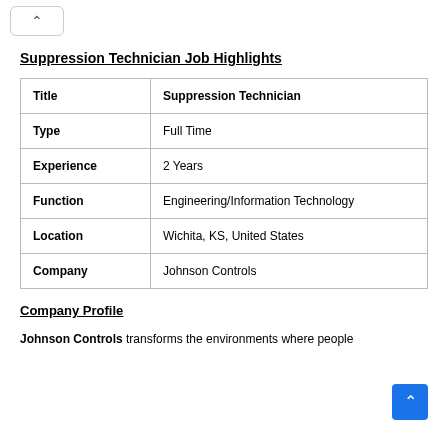Suppression Technician Job Highlights
| Title | Suppression Technician |
| Type | Full Time |
| Experience | 2 Years |
| Function | Engineering/Information Technology |
| Location | Wichita, KS, United States |
| Company | Johnson Controls |
Company Profile
Johnson Controls transforms the environments where people